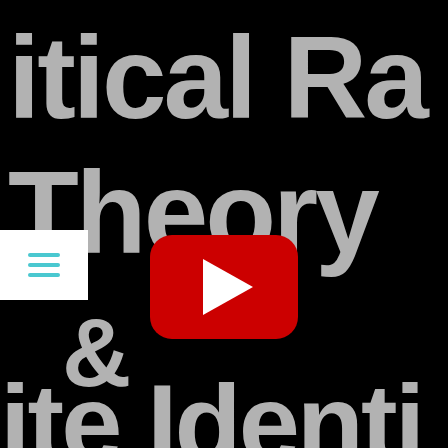[Figure (screenshot): YouTube video thumbnail with large bold gray text on black background reading 'Critical Race Theory & White Identity' (partially cropped). A YouTube play button (red rounded rectangle with white triangle) overlays the center. A white hamburger menu icon appears in the upper-left area.]